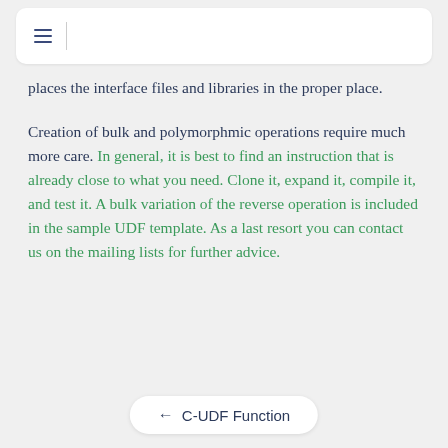≡ |
places the interface files and libraries in the proper place.
Creation of bulk and polymorphmic operations require much more care. In general, it is best to find an instruction that is already close to what you need. Clone it, expand it, compile it, and test it. A bulk variation of the reverse operation is included in the sample UDF template. As a last resort you can contact us on the mailing lists for further advice.
← C-UDF Function